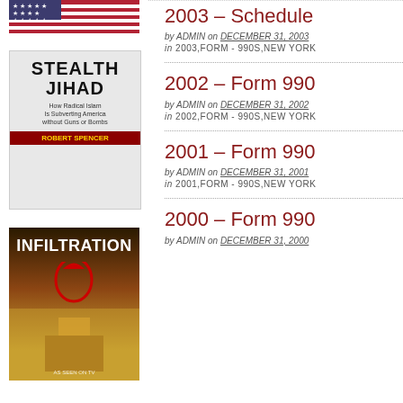[Figure (photo): American flag partial image at top left]
[Figure (photo): Book cover: Stealth Jihad by Robert Spencer - How Radical Islam Is Subverting America without Guns or Bombs]
2003 – Schedule
by ADMIN on DECEMBER 31, 2003
in 2003,FORM - 990S,NEW YORK
2002 – Form 990
by ADMIN on DECEMBER 31, 2002
in 2002,FORM - 990S,NEW YORK
2001 – Form 990
by ADMIN on DECEMBER 31, 2001
in 2001,FORM - 990S,NEW YORK
[Figure (photo): Book cover: Infiltration - showing crescent moon and US Capitol building]
2000 – Form 990
by ADMIN on DECEMBER 31, 2000